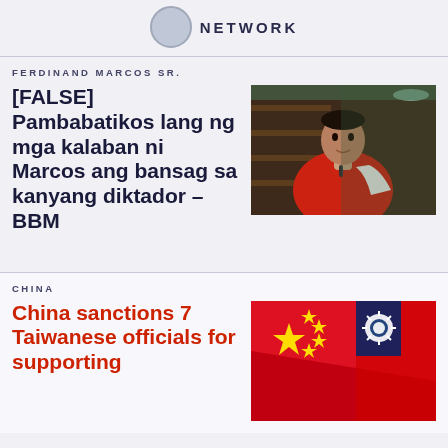NETWORK
FERDINAND MARCOS SR.
[FALSE] Pambabatikos lang ng mga kalaban ni Marcos ang bansag sa kanyang diktador – BBM
[Figure (photo): Man in red shirt seated indoors, appears to be BBM (Bongbong Marcos) in an interview setting]
CHINA
China sanctions 7 Taiwanese officials for supporting
[Figure (photo): Chinese flag and Taiwan flag overlapping, red background with yellow stars and white sun symbol]